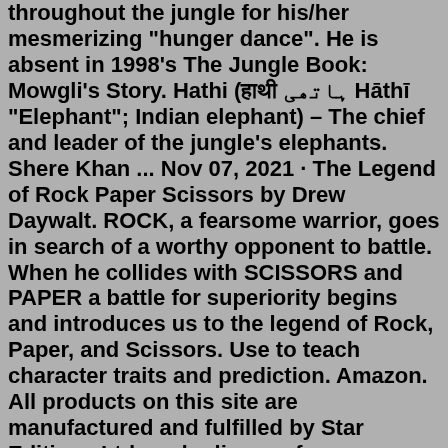throughout the jungle for his/her mesmerizing "hunger dance". He is absent in 1998's The Jungle Book: Mowgli's Story. Hathi (हाथी ہاتھی Hāthī "Elephant"; Indian elephant) – The chief and leader of the jungle's elephants. Shere Khan ... Nov 07, 2021 · The Legend of Rock Paper Scissors by Drew Daywalt. ROCK, a fearsome warrior, goes in search of a worthy opponent to battle. When he collides with SCISSORS and PAPER a battle for superiority begins and introduces us to the legend of Rock, Paper, and Scissors. Use to teach character traits and prediction. Amazon. All products on this site are manufactured and fulfilled by Star Editions Ltd, under license from MML.Don Shirley. Don Shirley is a snobbish, polite, and mild-mannered concert pianist. While he does not appreciate Vallelonga's more exuberant and loud-mouthed affects at first, he comes to appreciate them in time as the two become closer. Indeed, Don is often put off by Vallelonga's attitude and finds him coarse and impolite.Browse a comprehensive A-Z list of Marvel comic characters.